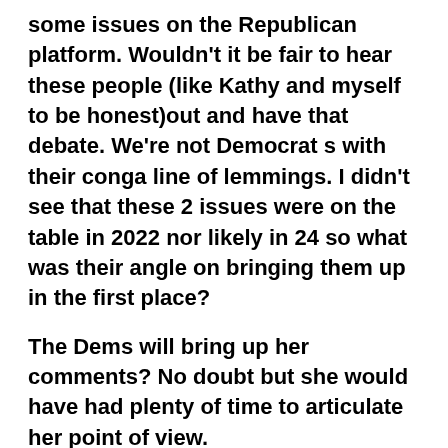some issues on the Republican platform. Wouldn't it be fair to hear these people (like Kathy and myself to be honest)out and have that debate. We're not Democrat s with their conga line of lemmings. I didn't see that these 2 issues were on the table in 2022 nor likely in 24 so what was their angle on bringing them up in the first place?
The Dems will bring up her comments? No doubt but she would have had plenty of time to articulate her point of view.
IMHO the smear campaign by Oz may have